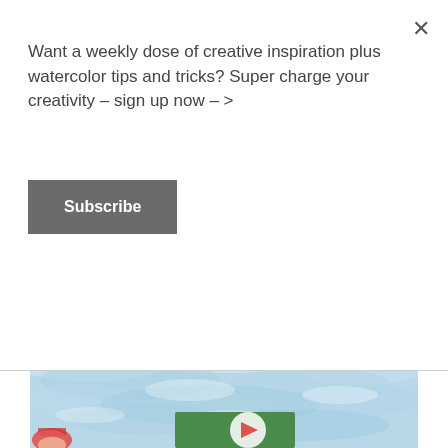Want a weekly dose of creative inspiration plus watercolor tips and tricks? Super charge your creativity – sign up now – >
Subscribe
DECEMBER 19, 2017
[Figure (illustration): Watercolor painting showing a blue sky background with a Santa character on the left and a green billboard with a red play button in the center, partially cropped at the bottom of the page.]